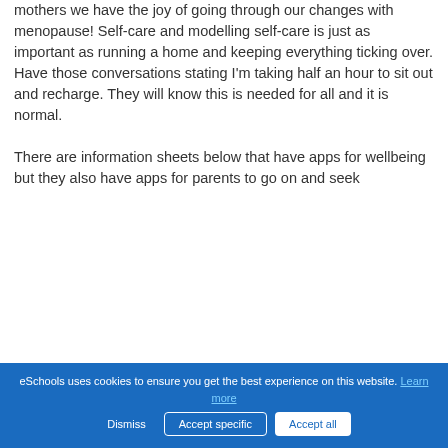mothers we have the joy of going through our changes with menopause! Self-care and modelling self-care is just as important as running a home and keeping everything ticking over. Have those conversations stating I'm taking half an hour to sit out and recharge. They will know this is needed for all and it is normal.

There are information sheets below that have apps for wellbeing but they also have apps for parents to go on and seek
eSchools uses cookies to ensure you get the best experience on this website. Learn more